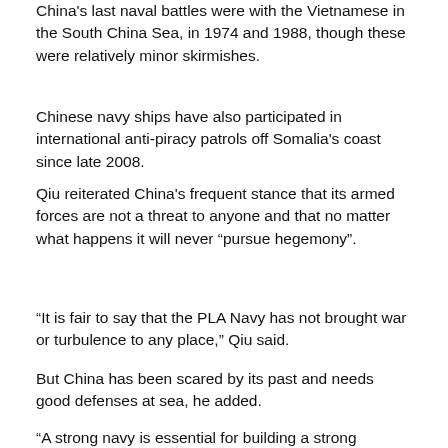China's last naval battles were with the Vietnamese in the South China Sea, in 1974 and 1988, though these were relatively minor skirmishes.
Chinese navy ships have also participated in international anti-piracy patrols off Somalia's coast since late 2008.
Qiu reiterated China's frequent stance that its armed forces are not a threat to anyone and that no matter what happens it will never “pursue hegemony”.
“It is fair to say that the PLA Navy has not brought war or turbulence to any place,” Qiu said.
But China has been scared by its past and needs good defenses at sea, he added.
“A strong navy is essential for building a strong maritime